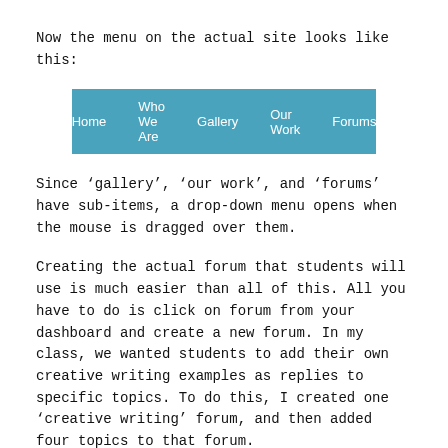Now the menu on the actual site looks like this:
[Figure (screenshot): A navigation bar with a teal/blue background showing menu items: Home, Who We Are, Gallery, Our Work, Forums]
Since 'gallery', 'our work', and 'forums' have sub-items, a drop-down menu opens when the mouse is dragged over them.
Creating the actual forum that students will use is much easier than all of this. All you have to do is click on forum from your dashboard and create a new forum. In my class, we wanted students to add their own creative writing examples as replies to specific topics. To do this, I created one 'creative writing' forum, and then added four topics to that forum.